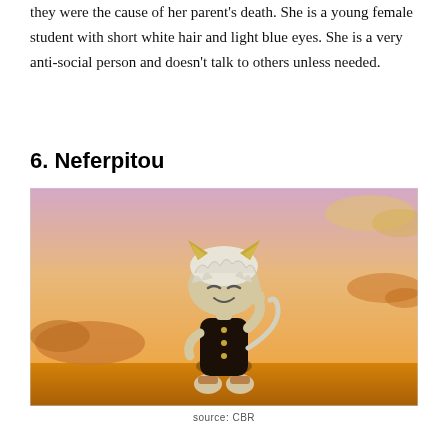they were the cause of her parent's death. She is a young female student with short white hair and light blue eyes. She is a very anti-social person and doesn't talk to others unless needed.
6. Neferpitou
[Figure (illustration): Chibi anime character Neferpitou with white curly hair and cat ears, wearing a dark uniform, set against a warm orange and purple sunset sky with clouds.]
source: CBR